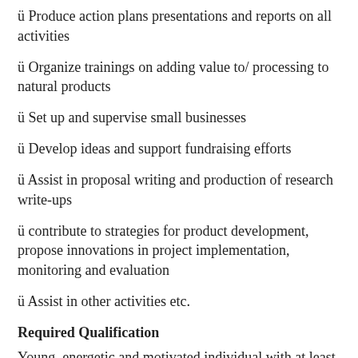ü Produce action plans presentations and reports on all activities
ü Organize trainings on adding value to/ processing to natural products
ü Set up and supervise small businesses
ü Develop ideas and support fundraising efforts
ü Assist in proposal writing and production of research write-ups
ü contribute to strategies for product development, propose innovations in project implementation, monitoring and evaluation
ü Assist in other activities etc.
Required Qualification
Young, energetic and motivated individual with at least 3years experience in project and business